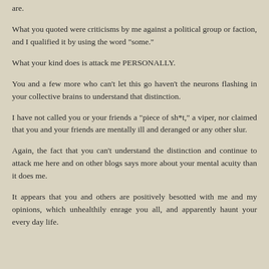are.
What you quoted were criticisms by me against a political group or faction, and I qualified it by using the word "some."
What your kind does is attack me PERSONALLY.
You and a few more who can't let this go haven't the neurons flashing in your collective brains to understand that distinction.
I have not called you or your friends a "piece of sh*t," a viper, nor claimed that you and your friends are mentally ill and deranged or any other slur.
Again, the fact that you can't understand the distinction and continue to attack me here and on other blogs says more about your mental acuity than it does me.
It appears that you and others are positively besotted with me and my opinions, which unhealthily enrage you all, and apparently haunt your every day life.